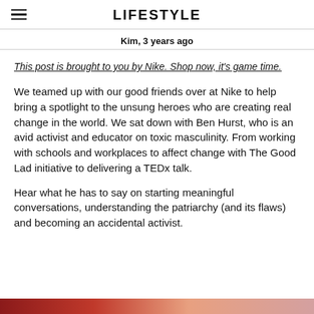LIFESTYLE
Kim, 3 years ago
This post is brought to you by Nike. Shop now, it's game time.
We teamed up with our good friends over at Nike to help bring a spotlight to the unsung heroes who are creating real change in the world. We sat down with Ben Hurst, who is an avid activist and educator on toxic masculinity. From working with schools and workplaces to affect change with The Good Lad initiative to delivering a TEDx talk.
Hear what he has to say on starting meaningful conversations, understanding the patriarchy (and its flaws) and becoming an accidental activist.
[Figure (photo): Partial view of a photo strip at the bottom of the page, showing red and warm-toned colors]